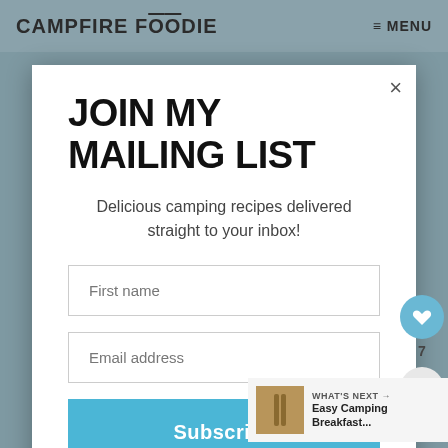CAMPFIRE FOODIE   ≡ MENU
JOIN MY MAILING LIST
Delicious camping recipes delivered straight to your inbox!
First name
Email address
Subscribe
7
WHAT'S NEXT → Easy Camping Breakfast...